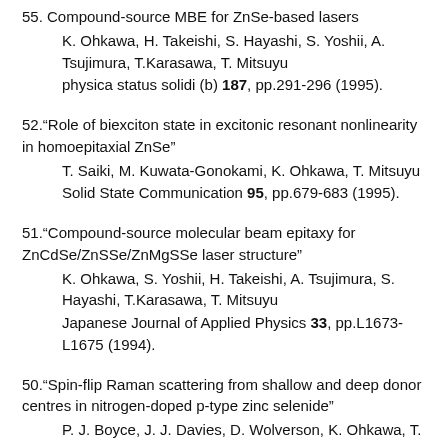55. Compound-source MBE for ZnSe-based lasers K. Ohkawa, H. Takeishi, S. Hayashi, S. Yoshii, A. Tsujimura, T.Karasawa, T. Mitsuyu physica status solidi (b) 187, pp.291-296 (1995).
52."Role of biexciton state in excitonic resonant nonlinearity in homoepitaxial ZnSe" T. Saiki, M. Kuwata-Gonokami, K. Ohkawa, T. Mitsuyu Solid State Communication 95, pp.679-683 (1995).
51."Compound-source molecular beam epitaxy for ZnCdSe/ZnSSe/ZnMgSSe laser structure" K. Ohkawa, S. Yoshii, H. Takeishi, A. Tsujimura, S. Hayashi, T.Karasawa, T. Mitsuyu Japanese Journal of Applied Physics 33, pp.L1673-L1675 (1994).
50."Spin-flip Raman scattering from shallow and deep donor centres in nitrogen-doped p-type zinc selenide" P. J. Boyce, J. J. Davies, D. Wolverson, K. Ohkawa, T.